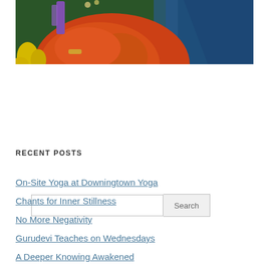[Figure (photo): Photo of a person wearing red/orange robes with blue fabric, with yellow flowers visible at the left, decorative purple element in background, colorful festive setting]
Search
RECENT POSTS
On-Site Yoga at Downingtown Yoga
Chants for Inner Stillness
No More Negativity
Gurudevi Teaches on Wednesdays
A Deeper Knowing Awakened